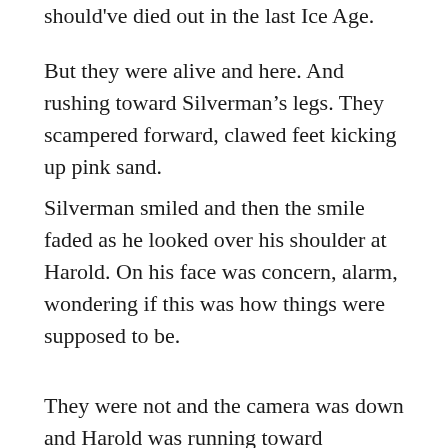should've died out in the last Ice Age.
But they were alive and here. And rushing toward Silverman’s legs. They scampered forward, clawed feet kicking up pink sand.
Silverman smiled and then the smile faded as he looked over his shoulder at Harold. On his face was concern, alarm, wondering if this was how things were supposed to be.
They were not and the camera was down and Harold was running toward Silverman.
A dragon clamped down on the man’s bony shin. Another grabbed the other leg. They pulled and twisted, their sharp tooth shredding